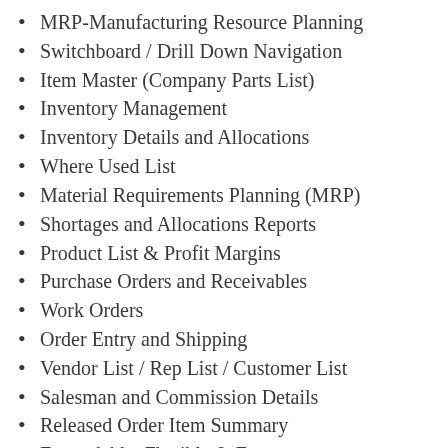MRP-Manufacturing Resource Planning
Switchboard / Drill Down Navigation
Item Master (Company Parts List)
Inventory Management
Inventory Details and Allocations
Where Used List
Material Requirements Planning (MRP)
Shortages and Allocations Reports
Product List & Profit Margins
Purchase Orders and Receivables
Work Orders
Order Entry and Shipping
Vendor List / Rep List / Customer List
Salesman and Commission Details
Released Order Item Summary
Expandable, Flexible & Easy to use
Multi-User / Permission Controls
Low Cost / Free Support / No Annual Fees